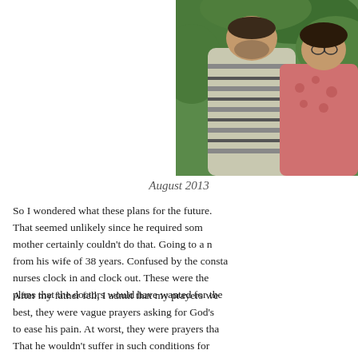[Figure (photo): A couple standing together outdoors with green foliage in the background. The man wears a striped shirt and the woman wears a pink patterned top.]
August 2013
So I wondered what these plans for the future. That seemed unlikely since he required som mother certainly couldn't do that. Going to a n from his wife of 38 years. Confused by the consta nurses clock in and clock out. These were th plans that the doctors would have wanted for the
After my father fell, I admit that my prayers we best, they were vague prayers asking for God's to ease his pain. At worst, they were prayers tha That he wouldn't suffer in such conditions for years, according to the doctors' plans. That wouldn't be confusing or difficult. That he cou happening to him so he could accept it instead o